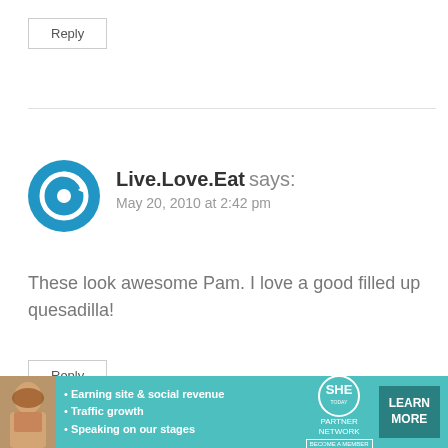Reply
Live.Love.Eat says: May 20, 2010 at 2:42 pm
These look awesome Pam. I love a good filled up quesadilla!
Reply
[Figure (infographic): SHE Partner Network advertisement banner with woman photo, bullet points about earning site & social revenue, traffic growth, speaking on stages, and a LEARN MORE button]